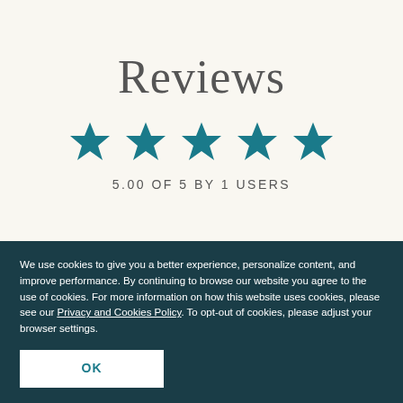Reviews
[Figure (other): Five teal filled star icons representing a 5-star rating]
5.00 OF 5 BY 1 USERS
We use cookies to give you a better experience, personalize content, and improve performance. By continuing to browse our website you agree to the use of cookies. For more information on how this website uses cookies, please see our Privacy and Cookies Policy. To opt-out of cookies, please adjust your browser settings.
OK